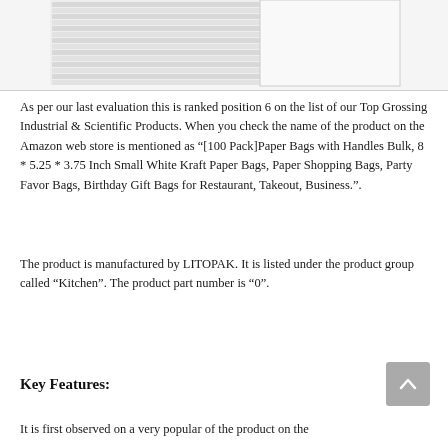[Figure (photo): Partial view of white kraft paper bags stacked, showing the top portion of the product photo]
As per our last evaluation this is ranked position 6 on the list of our Top Grossing Industrial & Scientific Products. When you check the name of the product on the Amazon web store is mentioned as “[100 Pack]Paper Bags with Handles Bulk, 8 * 5.25 * 3.75 Inch Small White Kraft Paper Bags, Paper Shopping Bags, Party Favor Bags, Birthday Gift Bags for Restaurant, Takeout, Business.”.
The product is manufactured by LITOPAK. It is listed under the product group called “Kitchen”. The product part number is “0”.
Key Features:
It is first observed on a very popular of the product on the